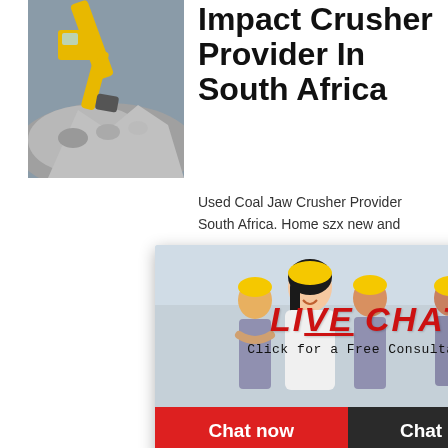[Figure (photo): Mining excavator working with rocks/gravel, yellow machinery]
Impact Crusher Provider In South Africa
Used Coal Jaw Crusher Provider South Africa. Home szx new and
[Figure (screenshot): Live chat popup overlay with workers in hard hats, LIVE CHAT heading in red italic, 'Click for a Free Consultation' text, red 'Chat now' button and dark 'Chat later' button]
hour online
[Figure (photo): Impact crusher machine in blue panel on right side]
Click me to chat>>
Enquiry
crusher for hire in c and washing plant f africaclick to view53 sand washing used for sale in south afr jaw crusher for sale